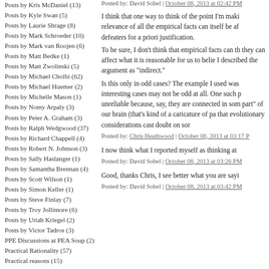Posts by Kris McDaniel (13)
Posts by Kyle Swan (5)
Posts by Laurie Shrage (8)
Posts by Mark Schroeder (10)
Posts by Mark van Roojen (6)
Posts by Matt Bedke (1)
Posts by Matt Zwolinski (5)
Posts by Michael Cholbi (62)
Posts by Michael Huemer (2)
Posts by Michelle Mason (1)
Posts by Nomy Arpaly (3)
Posts by Peter A. Graham (3)
Posts by Ralph Wedgwood (37)
Posts by Richard Chappell (4)
Posts by Robert N. Johnson (3)
Posts by Sally Haslanger (1)
Posts by Samantha Brennan (4)
Posts by Scott Wilson (1)
Posts by Simon Keller (1)
Posts by Steve Finlay (7)
Posts by Troy Jollimore (6)
Posts by Uriah Kriegel (2)
Posts by Victor Tadros (3)
PPE Discussions at PEA Soup (2)
Practical Rationality (57)
Practical reasons (15)
Posted by: David Sobel | October 08, 2013 at 02:42 PM
I think that one way to think of the point I'm maki... relevance of all the empirical facts can itself be af... defeaters for a priori justification.
To be sure, I don't think that empirical facts can th... they can affect what it is reasonable for us to belie... I described the argument as "indirect."
Is this only in odd cases? The example I used was... interesting cases may not be odd at all. One such p... unreliable because, say, they are connected in som... part" of our brain (that's kind of a caricature of pa... that evolutionary considerations cast doubt on sor...
Posted by: Chris Heathwood | October 08, 2013 at 03:17 P...
I now think what I reported myself as thinking at...
Posted by: David Sobel | October 08, 2013 at 03:26 PM
Good, thanks Chris, I see better what you are sayi...
Posted by: David Sobel | October 08, 2013 at 03:42 PM